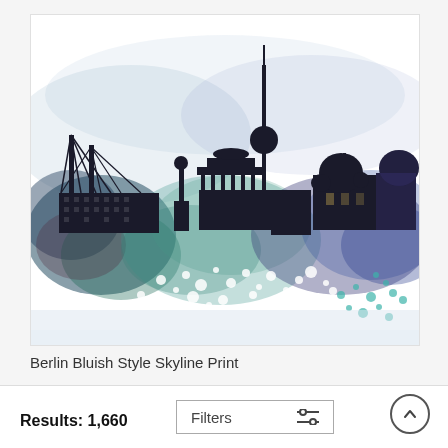[Figure (illustration): Watercolor-style illustration of the Berlin skyline in bluish and teal tones, with city silhouette including the TV tower, Brandenburg Gate columns, a bridge, cathedral dome, and other landmarks against a white background with watercolor splatter effects in blue, teal, purple, and dark tones.]
Berlin Bluish Style Skyline Print
Results: 1,660
Filters